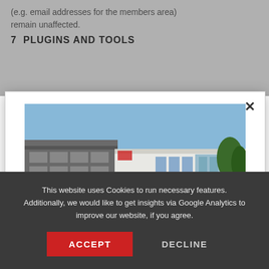(e.g. email addresses for the members area) remain unaffected.
7  PLUGINS AND TOOLS
[Figure (photo): Photo of a modern industrial/office building with grey and white facade, red door, large windows, and blue sky background]
WE'VE MOVED
YOU WILL FIND US AT THE FOLLOWING ADDRESS:
This website uses Cookies to run necessary features. Additionally, we would like to get insights via Google Analytics to improve our website, if you agree.